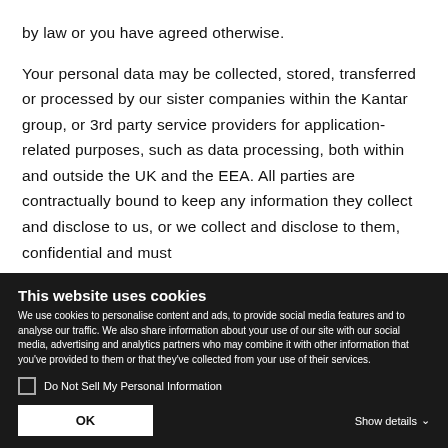by law or you have agreed otherwise.

Your personal data may be collected, stored, transferred or processed by our sister companies within the Kantar group, or 3rd party service providers for application-related purposes, such as data processing, both within and outside the UK and the EEA. All parties are contractually bound to keep any information they collect and disclose to us, or we collect and disclose to them, confidential and must
This website uses cookies
We use cookies to personalise content and ads, to provide social media features and to analyse our traffic. We also share information about your use of our site with our social media, advertising and analytics partners who may combine it with other information that you've provided to them or that they've collected from your use of their services.
Do Not Sell My Personal Information
OK
Show details